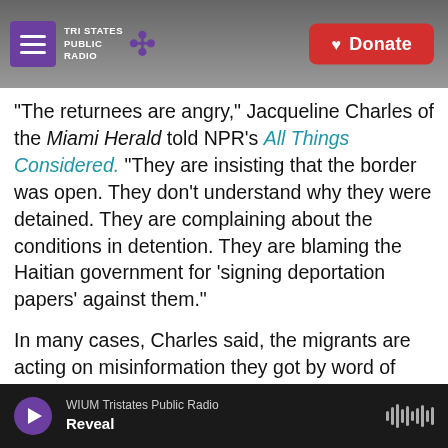Tri States Public Radio — Donate
"The returnees are angry," Jacqueline Charles of the Miami Herald told NPR's All Things Considered. "They are insisting that the border was open. They don't understand why they were detained. They are complaining about the conditions in detention. They are blaming the Haitian government for 'signing deportation papers' against them."
In many cases, Charles said, the migrants are acting on misinformation they got by word of mouth. Some believed their immigration status would be improved if they can show they had a child in South America — as many have, after
WIUM Tristates Public Radio — Reveal